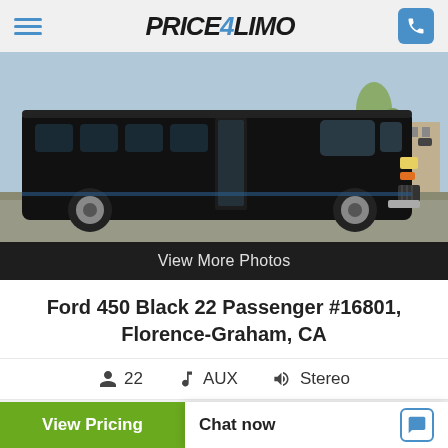Price4Limo
[Figure (photo): Black Ford 450 party bus/limo van, large extended vehicle with dark tinted windows and open side door, parked outdoors]
View More Photos
Ford 450 Black 22 Passenger #16801, Florence-Graham, CA
22   AUX   Stereo
This Vehicle Includes The Following Amenities:
View Pricing
Chat now